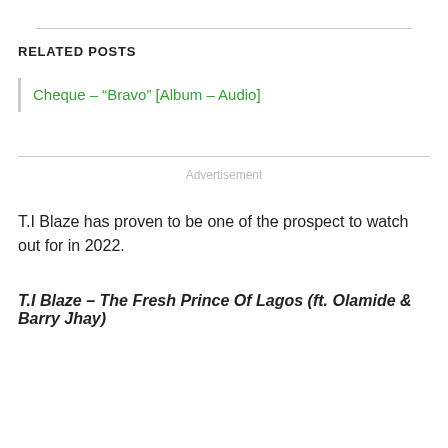RELATED POSTS
Cheque – “Bravo” [Album – Audio]
Advertisement
T.I Blaze has proven to be one of the prospect to watch out for in 2022.
T.I Blaze – The Fresh Prince Of Lagos (ft. Olamide & Barry Jhay)